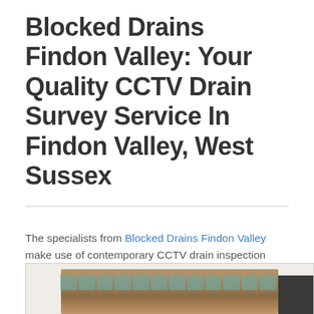Blocked Drains Findon Valley: Your Quality CCTV Drain Survey Service In Findon Valley, West Sussex
The specialists from Blocked Drains Findon Valley make use of contemporary CCTV drain inspection gear to examine every aspect of the drain Utilizing the innovative CCTV program, we could recognize greatest precision, the issue together with your drainage system.
[Figure (photo): Photo of a drain or drainage system, partially visible at the bottom of the page, showing what appears to be leaves or debris behind a fence or grate with teal/turquoise colored bars.]